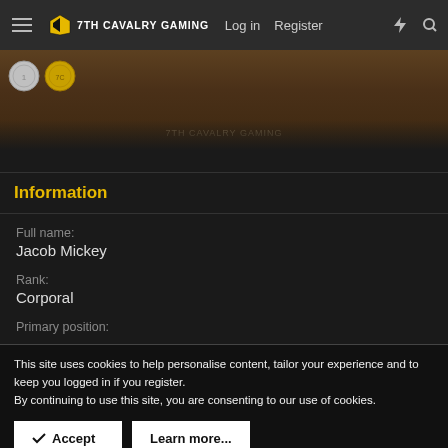7TH CAVALRY GAMING  Log in  Register
[Figure (photo): Partial hero banner image showing coins and a wooden board background with '7TH CAVALRY GAMING' text watermark]
Information
Full name:
Jacob Mickey
Rank:
Corporal
Primary position:
This site uses cookies to help personalise content, tailor your experience and to keep you logged in if you register.
By continuing to use this site, you are consenting to our use of cookies.
Accept  Learn more...